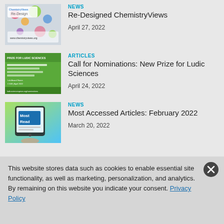[Figure (screenshot): ChemistryViews website redesign thumbnail with colorful dots and 'Re-Design' text]
NEWS
Re-Designed ChemistryViews
April 27, 2022
[Figure (screenshot): Green flyer/poster thumbnail for Ludic Sciences prize nomination]
ARTICLES
Call for Nominations: New Prize for Ludic Sciences
April 24, 2022
[Figure (screenshot): Tablet device showing 'Most Read' text, representing most accessed articles]
NEWS
Most Accessed Articles: February 2022
March 20, 2022
This website stores data such as cookies to enable essential site functionality, as well as marketing, personalization, and analytics. By remaining on this website you indicate your consent. Privacy Policy